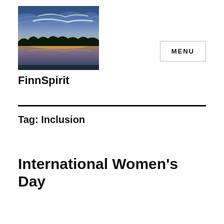[Figure (photo): Sunset over a lake with dramatic blue-purple clouds reflected in the calm water, silhouette of treeline along the horizon]
FinnSpirit
Tag: Inclusion
International Women's Day